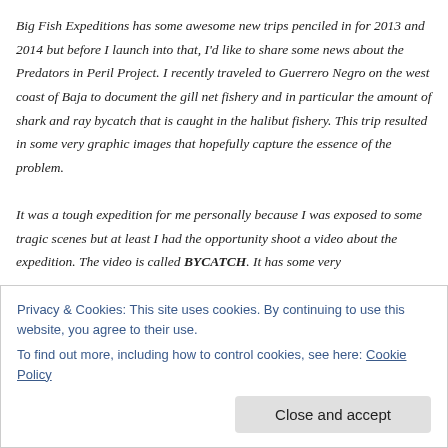Big Fish Expeditions has some awesome new trips penciled in for 2013 and 2014 but before I launch into that, I'd like to share some news about the Predators in Peril Project. I recently traveled to Guerrero Negro on the west coast of Baja to document the gill net fishery and in particular the amount of shark and ray bycatch that is caught in the halibut fishery. This trip resulted in some very graphic images that hopefully capture the essence of the problem.

It was a tough expedition for me personally because I was exposed to some tragic scenes but at least I had the opportunity shoot a video about the expedition. The video is called BYCATCH. It has some very
Privacy & Cookies: This site uses cookies. By continuing to use this website, you agree to their use.
To find out more, including how to control cookies, see here: Cookie Policy